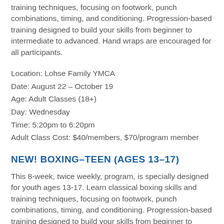training techniques, focusing on footwork, punch combinations, timing, and conditioning. Progression-based training designed to build your skills from beginner to intermediate to advanced. Hand wraps are encouraged for all participants.
Location: Lohse Family YMCA
Date: August 22 – October 19
Age: Adult Classes (18+)
Day: Wednesday
Time: 5:20pm to 6:20pm
Adult Class Cost: $40/members, $70/program member
NEW! BOXING–TEEN (AGES 13–17)
This 8-week, twice weekly, program, is specially designed for youth ages 13-17. Learn classical boxing skills and training techniques, focusing on footwork, punch combinations, timing, and conditioning. Progression-based training designed to build your skills from beginner to